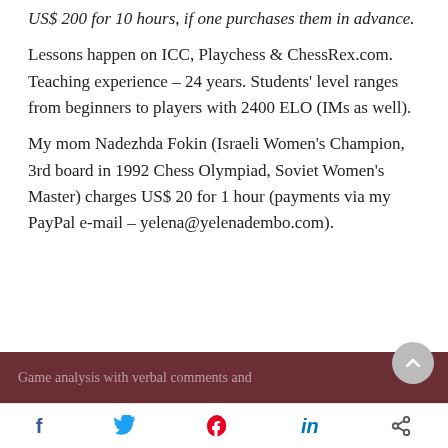US$ 200 for 10 hours, if one purchases them in advance.
Lessons happen on ICC, Playchess & ChessRex.com. Teaching experience – 24 years. Students' level ranges from beginners to players with 2400 ELO (IMs as well).
My mom Nadezhda Fokin (Israeli Women's Champion, 3rd board in 1992 Chess Olympiad, Soviet Women's Master) charges US$ 20 for 1 hour (payments via my PayPal e-mail – yelena@yelenadembo.com).
Game analysis with verbal comments and
f  [twitter]  [pinterest]  in  [share]